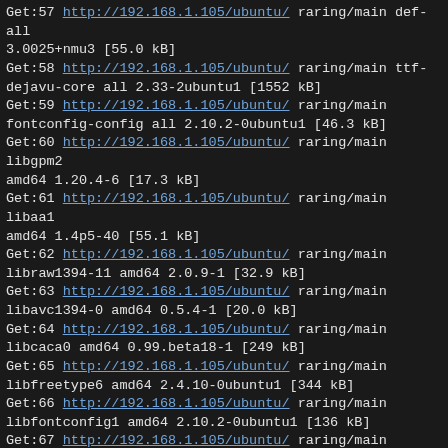Get:57 http://192.168.1.105/ubuntu/ raring/main def-all 3.0025+nmu3 [55.0 kB]
Get:58 http://192.168.1.105/ubuntu/ raring/main ttf-dejavu-core all 2.33-2ubuntu1 [1552 kB]
Get:59 http://192.168.1.105/ubuntu/ raring/main fontconfig-config all 2.10.2-0ubuntu1 [46.3 kB]
Get:60 http://192.168.1.105/ubuntu/ raring/main libgpm2 amd64 1.20.4-6 [17.3 kB]
Get:61 http://192.168.1.105/ubuntu/ raring/main libaa1 amd64 1.4p5-40 [55.1 kB]
Get:62 http://192.168.1.105/ubuntu/ raring/main libraw1394-11 amd64 2.0.9-1 [32.9 kB]
Get:63 http://192.168.1.105/ubuntu/ raring/main libavc1394-0 amd64 0.5.4-1 [20.0 kB]
Get:64 http://192.168.1.105/ubuntu/ raring/main libcaca0 amd64 0.99.beta18-1 [249 kB]
Get:65 http://192.168.1.105/ubuntu/ raring/main libfreetype6 amd64 2.4.10-0ubuntu1 [344 kB]
Get:66 http://192.168.1.105/ubuntu/ raring/main libfontconfig1 amd64 2.10.2-0ubuntu1 [136 kB]
Get:67 http://192.168.1.105/ubuntu/ raring/main libpixman-1-0 amd64 0.26.0-3 [231 kB]
Get:68 http://192.168.1.105/ubuntu/ raring/main libxcb-render0 amd64 1.8.1-2 [13.3 kB]
Get:69 http://192.168.1.105/ubuntu/ raring/main libxcb-shm0 amd64 1.8.1-2 [5538 B]
Get:70 http://192.168.1.105/ubuntu/ raring/main libxrender1 amd64 1:0.9.7-1 [20.5 kB]
Get:71 http://192.168.1.105/ubuntu/ raring/main libcairo2 amd64 1.12.8-0ubuntu4 [604 kB]
Get:72 http://192.168.1.105/ubuntu/ raring/main